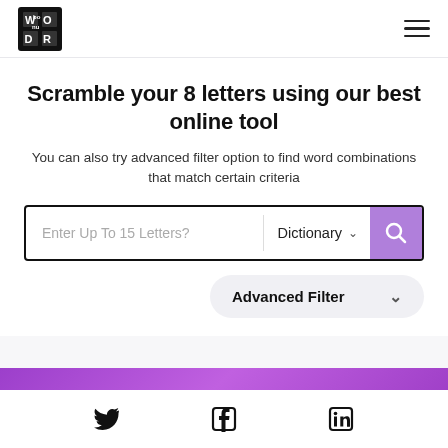Wordur logo and navigation menu
Scramble your 8 letters using our best online tool
You can also try advanced filter option to find word combinations that match certain criteria
[Figure (screenshot): Search input bar with placeholder 'Enter Up To 15 Letters?', Dictionary dropdown, and purple search button with magnifying glass icon]
[Figure (screenshot): Advanced Filter dropdown button with chevron]
Twitter, Facebook, LinkedIn social media icons